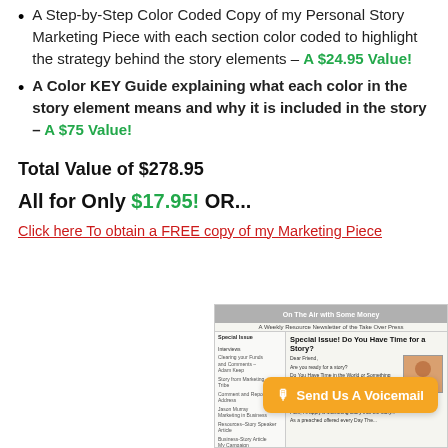A Step-by-Step Color Coded Copy of my Personal Story Marketing Piece with each section color coded to highlight the strategy behind the story elements – A $24.95 Value!
A Color KEY Guide explaining what each color in the story element means and why it is included in the story – A $75 Value!
Total Value of $278.95
All for Only $17.95! OR...
Click here To obtain a FREE copy of my Marketing Piece
[Figure (photo): Newsletter image showing 'On The Air with Some Money' newsletter, with a 'Special Issue: Do You Have Time for a Story?' headline and a photo of a man in orange]
[Figure (other): Send Us A Voicemail button in orange]